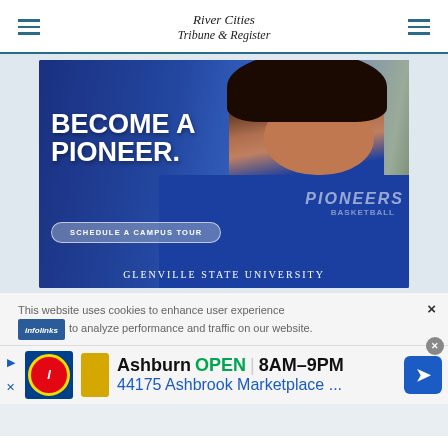River Cities Tribune & Register
[Figure (photo): Glenville State University advertisement showing a female student in a blue Pioneers basketball shirt. Text reads: BECOME A PIONEER. SCHEDULE A CAMPUS TOUR. Glenville State University.]
This website uses cookies to enhance user experience to analyze performance and traffic on our website.
[Figure (infographic): Lidl advertisement. Ashburn OPEN 8AM-9PM. 44175 Ashbrook Marketplace ...]